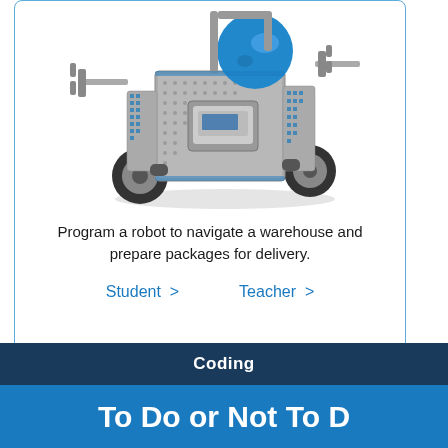[Figure (photo): A VEX IQ or similar educational robot kit assembled with metal frame, blue accents, wheels, and various attachments including arms and sensors.]
Program a robot to navigate a warehouse and prepare packages for delivery.
Student >    Teacher >
Coding
To Do or Not To D...